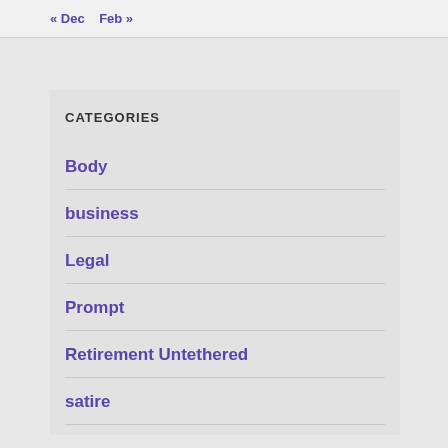« Dec   Feb »
CATEGORIES
Body
business
Legal
Prompt
Retirement Untethered
satire